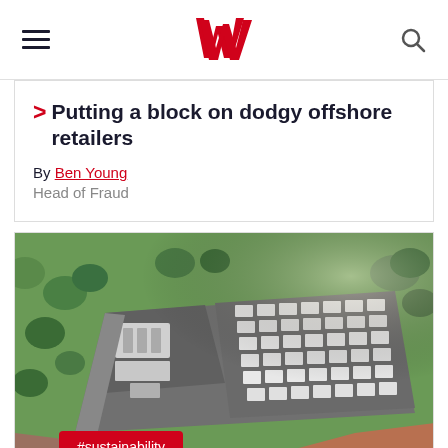Westpac navigation bar with hamburger menu, Westpac logo, and search icon
Putting a block on dodgy offshore retailers
By Ben Young
Head of Fraud
[Figure (photo): Aerial view of a large battery energy storage facility surrounded by green lawns and trees, showing rows of white battery units on a grey paved area with electrical equipment]
#sustainability